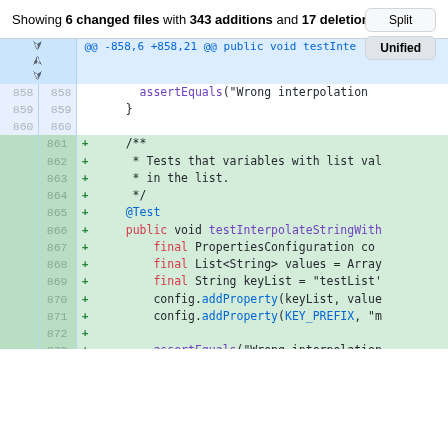Showing 6 changed files with 343 additions and 17 deletions.
|  | 858 |  | assertEquals("Wrong interpolation... |
|  | 859 |  | } |
|  | 860 |  |  |
| 861 |  | + | /** |
| 862 |  | + |  * Tests that variables with list val... |
| 863 |  | + |  * in the list. |
| 864 |  | + |  */ |
| 865 |  | + | @Test |
| 866 |  | + | public void testInterpolateStringWith... |
| 867 |  | + |     final PropertiesConfiguration co... |
| 868 |  | + |     final List<String> values = Array... |
| 869 |  | + |     final String keyList = "testList"... |
| 870 |  | + |     config.addProperty(keyList, value... |
| 871 |  | + |     config.addProperty(KEY_PREFIX, "m... |
| 872 |  | + |  |
| 873 |  | + |     assertEquals("Wrong interpolation... |